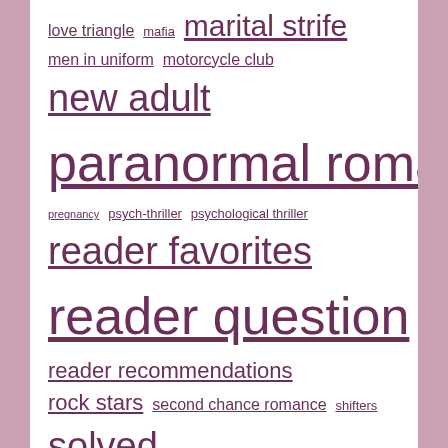love triangle mafia marital strife men in uniform motorcycle club new adult paranormal romance pregnancy psych-thriller psychological thriller reader favorites reader question reader recommendations rock stars second chance romance shifters solved sports stars super-angsty unrequited love unsolved urban fantasy vampires YA
CATEGORIES
Adrian Phoenix
Alexandra Ivy